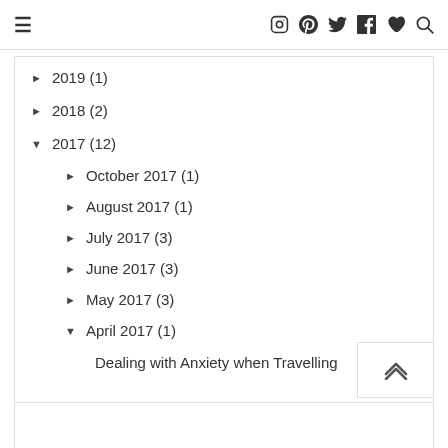☰ (menu icon) and social icons: Instagram, Pinterest, Twitter, Facebook, Bloglovin, Search
► 2019 (1)
► 2018 (2)
▼ 2017 (12)
► October 2017 (1)
► August 2017 (1)
► July 2017 (3)
► June 2017 (3)
► May 2017 (3)
▼ April 2017 (1)
Dealing with Anxiety when Travelling